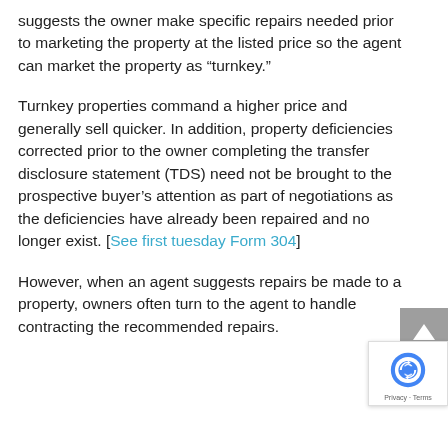suggests the owner make specific repairs needed prior to marketing the property at the listed price so the agent can market the property as “turnkey.”
Turnkey properties command a higher price and generally sell quicker. In addition, property deficiencies corrected prior to the owner completing the transfer disclosure statement (TDS) need not be brought to the prospective buyer’s attention as part of negotiations as the deficiencies have already been repaired and no longer exist. [See first tuesday Form 304]
However, when an agent suggests repairs be made to a property, owners often turn to the agent to handle contracting the recommended repairs.